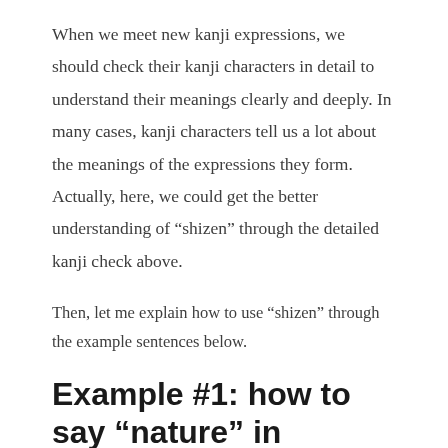When we meet new kanji expressions, we should check their kanji characters in detail to understand their meanings clearly and deeply. In many cases, kanji characters tell us a lot about the meanings of the expressions they form. Actually, here, we could get the better understanding of “shizen” through the detailed kanji check above.
Then, let me explain how to use “shizen” through the example sentences below.
Example #1: how to say “nature” in Japanese